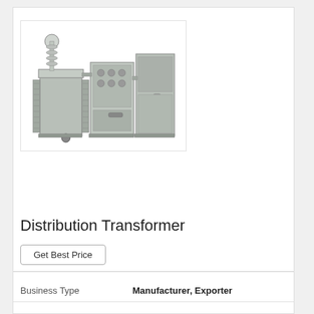[Figure (photo): Industrial distribution transformer unit with multiple components including cylindrical bushings, control panel, radiator fins, and cable boxes, rendered in gray metallic tones]
Distribution Transformer
Get Best Price
| Business Type |  |
| --- | --- |
| Business Type | Manufacturer, Exporter |